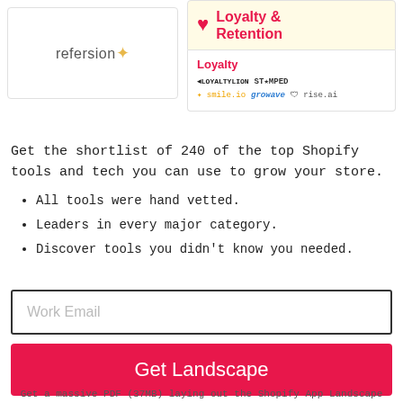[Figure (screenshot): Loyalty & Retention card with logos: LoyaltyLion, Stamped, smile.io, growave, rise.ai, and refersion logo card on the left]
Get the shortlist of 240 of the top Shopify tools and tech you can use to grow your store.
All tools were hand vetted.
Leaders in every major category.
Discover tools you didn't know you needed.
Work Email
Get Landscape
Get a massive PDF (37MB) laying out the Shopify App Landscape